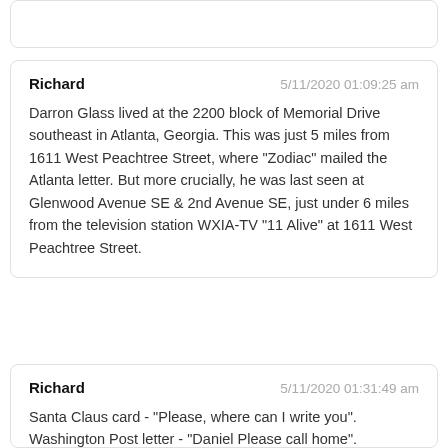(partial top card — cropped)
Richard   5/11/2020 01:09:25 am
Darron Glass lived at the 2200 block of Memorial Drive southeast in Atlanta, Georgia. This was just 5 miles from 1611 West Peachtree Street, where "Zodiac" mailed the Atlanta letter. But more crucially, he was last seen at Glenwood Avenue SE & 2nd Avenue SE, just under 6 miles from the television station WXIA-TV "11 Alive" at 1611 West Peachtree Street.
Richard   5/11/2020 01:31:49 am
Santa Claus card - "Please, where can I write you". Washington Post letter - "Daniel Please call home".

Both using "please". Both missing persons. One use "call", one uses "write".